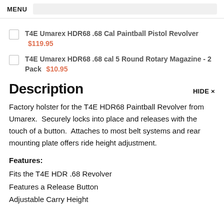MENU
T4E Umarex HDR68 .68 Cal Paintball Pistol Revolver  $119.95
T4E Umarex HDR68 .68 cal 5 Round Rotary Magazine - 2 Pack  $10.95
Description
Factory holster for the T4E HDR68 Paintball Revolver from Umarex.  Securely locks into place and releases with the touch of a button.  Attaches to most belt systems and rear mounting plate offers ride height adjustment.
Features:
Fits the T4E HDR .68 Revolver
Features a Release Button
Adjustable Carry Height